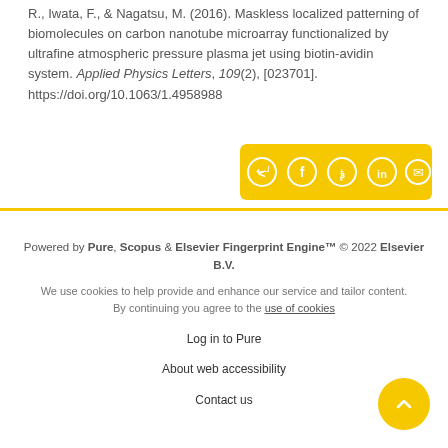R., Iwata, F., & Nagatsu, M. (2016). Maskless localized patterning of biomolecules on carbon nanotube microarray functionalized by ultrafine atmospheric pressure plasma jet using biotin-avidin system. Applied Physics Letters, 109(2), [023701]. https://doi.org/10.1063/1.4958988
[Figure (other): Yellow share button bar with social media icons: share, Facebook, Twitter, LinkedIn, email]
Powered by Pure, Scopus & Elsevier Fingerprint Engine™ © 2022 Elsevier B.V.
We use cookies to help provide and enhance our service and tailor content. By continuing you agree to the use of cookies
Log in to Pure
About web accessibility
Contact us